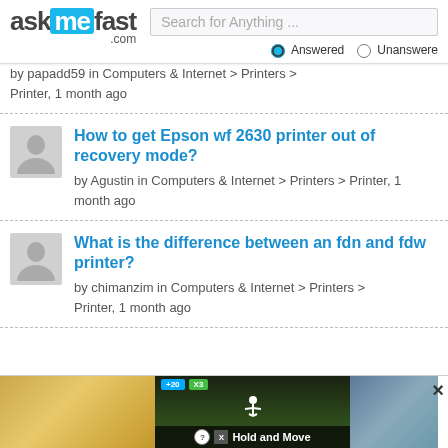askmefast.com — Search for Anything ... Answered | Unanswered
by papadd59 in Computers & Internet > Printers > Printer, 1 month ago
How to get Epson wf 2630 printer out of recovery mode?
by Agustin in Computers & Internet > Printers > Printer, 1 month ago
What is the difference between an fdn and fdw printer?
by chimanzim in Computers & Internet > Printers > Printer, 1 month ago
[Figure (screenshot): Advertisement banner at the bottom showing a game ad with Hold and Move title, trees background, info and close buttons]